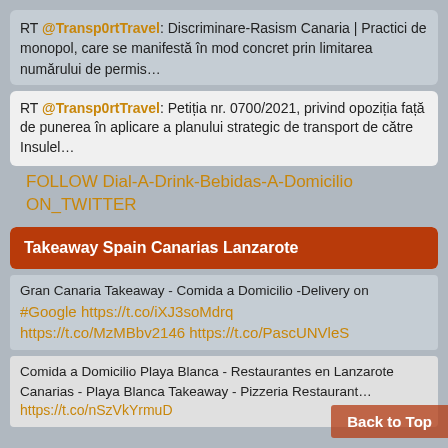RT @Transp0rtTravel: Discriminare-Rasism Canaria | Practici de monopol, care se manifestă în mod concret prin limitarea numărului de permis…
RT @Transp0rtTravel: Petiția nr. 0700/2021, privind opoziția față de punerea în aplicare a planului strategic de transport de către Insulel…
FOLLOW Dial-A-Drink-Bebidas-A-Domicilio ON_TWITTER
Takeaway Spain Canarias Lanzarote
Gran Canaria Takeaway - Comida a Domicilio -Delivery on #Google https://t.co/iXJ3soMdrq https://t.co/MzMBbv2146 https://t.co/PascUNVleS
Comida a Domicilio Playa Blanca - Restaurantes en Lanzarote Canarias - Playa Blanca Takeaway - Pizzeria Restaurant… https://t.co/nSzVkYrmuD